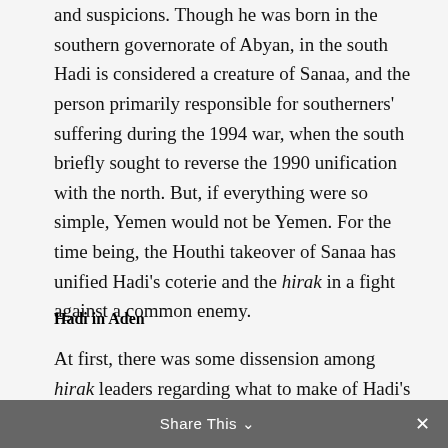and suspicions. Though he was born in the southern governorate of Abyan, in the south Hadi is considered a creature of Sanaa, and the person primarily responsible for southerners' suffering during the 1994 war, when the south briefly sought to reverse the 1990 unification with the north. But, if everything were so simple, Yemen would not be Yemen. For the time being, the Houthi takeover of Sanaa has unified Hadi's coterie and the hirak in a fight against a common enemy.
Hadi in Aden
At first, there was some dissension among hirak leaders regarding what to make of Hadi's sudden appearance in Aden. How had the captive president managed to evade the Houthi
Share This ∨  ✕